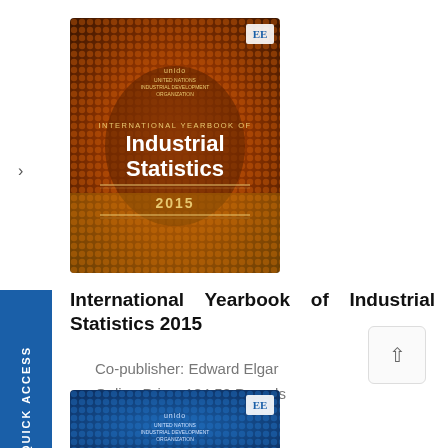[Figure (illustration): Book cover of International Yearbook of Industrial Statistics 2015, dark orange/red dot pattern background with UNIDO and Edward Elgar logos]
International Yearbook of Industrial Statistics 2015
Co-publisher: Edward Elgar
Online Price: 184.50 Pounds
Order here
[Figure (illustration): Partial second book cover with blue dot pattern background]